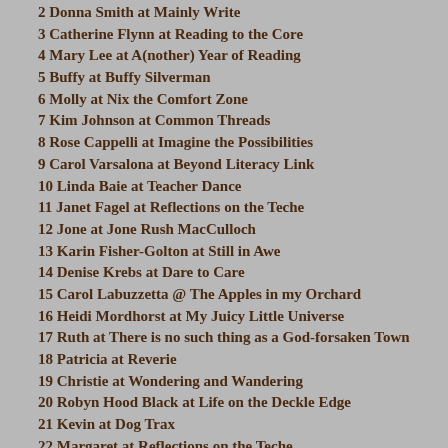2 Donna Smith at Mainly Write
3 Catherine Flynn at Reading to the Core
4 Mary Lee at A(nother) Year of Reading
5 Buffy at Buffy Silverman
6 Molly at Nix the Comfort Zone
7 Kim Johnson at Common Threads
8 Rose Cappelli at Imagine the Possibilities
9 Carol Varsalona at Beyond Literacy Link
10 Linda Baie at Teacher Dance
11 Janet Fagel at Reflections on the Teche
12 Jone at Jone Rush MacCulloch
13 Karin Fisher-Golton at Still in Awe
14 Denise Krebs at Dare to Care
15 Carol Labuzzetta @ The Apples in my Orchard
16 Heidi Mordhorst at My Juicy Little Universe
17 Ruth at There is no such thing as a God-forsaken Town
18 Patricia at Reverie
19 Christie at Wondering and Wandering
20 Robyn Hood Black at Life on the Deckle Edge
21 Kevin at Dog Trax
22 Margaret at Reflections on the Teche
23 Leigh Anne at A Day in the Life